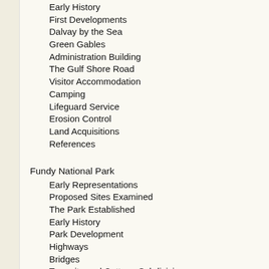Early History
First Developments
Dalvay by the Sea
Green Gables
Administration Building
The Gulf Shore Road
Visitor Accommodation
Camping
Lifeguard Service
Erosion Control
Land Acquisitions
References
Fundy National Park
Early Representations
Proposed Sites Examined
The Park Established
Early History
Park Development
Highways
Bridges
Townsite and Cottage Subdivisions
Visitor Accommodation
Camping
Water Systems
Swimming Pool
Golf Course
Other Attractions
Sport Fishing
Arts and Crafts
Interpretation